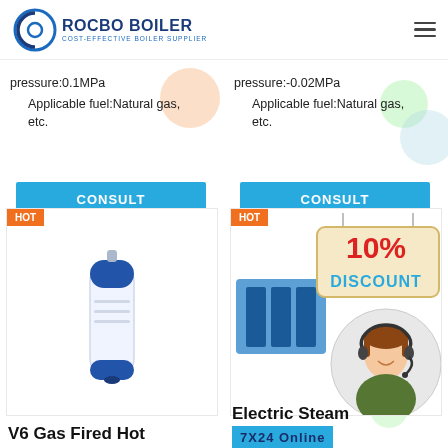[Figure (logo): Rocbo Boiler logo with circular icon and text 'COST-EFFECTIVE BOILER SUPPLIER']
pressure:0.1MPa
Applicable fuel:Natural gas, etc.
CONSULT
pressure:-0.02MPa
Applicable fuel:Natural gas, etc.
CONSULT
[Figure (photo): HOT badge and product image of V6 Gas Fired Hot water boiler - white and blue cylindrical unit]
[Figure (photo): HOT badge with 10% DISCOUNT sign and customer service agent with headset, with blue Electric Steam boiler visible]
V6 Gas Fired Hot
Electric Steam